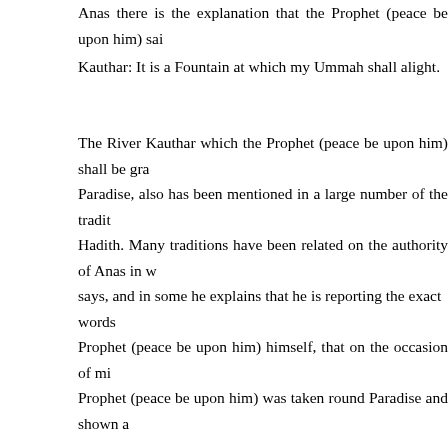Anas there is the explanation that the Prophet (peace be upon him) said about Kauthar: It is a Fountain at which my Ummah shall alight. The River Kauthar which the Prophet (peace be upon him) shall be granted in Paradise, also has been mentioned in a large number of the traditions of Hadith. Many traditions have been related on the authority of Anas in which he says, and in some he explains that he is reporting the exact words of the Prophet (peace be upon him) himself, that on the occasion of miraj the Prophet (peace be upon him) was taken round Paradise and shown a river on the banks of which there were vaults of pearls or precious stones carved from within; the earth of its bed was of the strong-scented musk. He asked Gabriel, or the angel who took him round, what it was? He replied that it was the River Kauthar, which Allah had granted him. (Musnad Ahmad, Bukhari, Muslim, Abu Daud, Tirmidhi, Abu Daud Tayalisi, Ibn Jarir) Again, according to Anas, the Prophet (peace be upon him) was asked (or a person asked him): What is Kauthar? He replied; It is a River which Allah has granted me in Paradise, its earth is musk: its water is whiter than milk and sweeter than honey. (Musnad Ahmad, Tirmidhi, Ibn Jarir; according to another tradition of Musnad Ahmad, describing the merits of the River Kauthar the Prophet said that at its